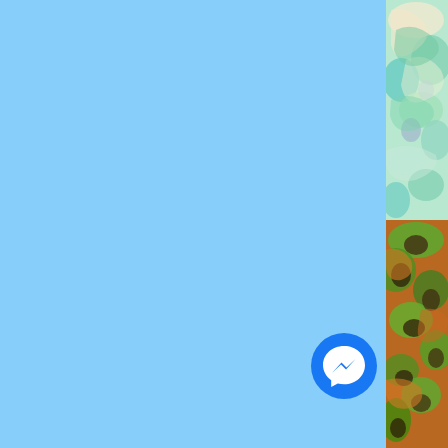[Figure (illustration): Light blue background filling the left and center of the page]
[Figure (illustration): Colorful swirling fractal pattern in teal, green, blue, cream and purple colors occupying the right strip top half]
[Figure (illustration): Colorful swirling fractal pattern in green, brown, orange colors occupying the right strip bottom half]
[Figure (illustration): Facebook Messenger logo - blue circle with white lightning bolt chat bubble icon, positioned in lower right area]